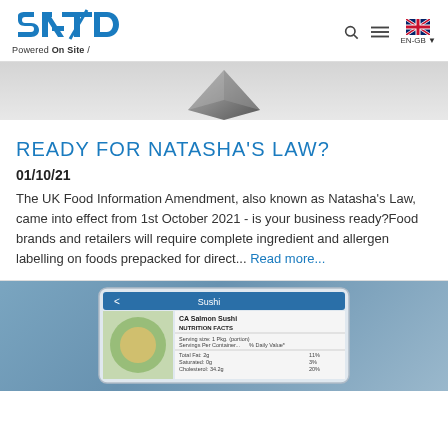SATO Powered On Site / [navigation icons] EN-GB
[Figure (photo): Partial image of a dark metallic diamond/pyramid shape on a light gray background]
READY FOR NATASHA'S LAW?
01/10/21
The UK Food Information Amendment, also known as Natasha's Law, came into effect from 1st October 2021 - is your business ready?Food brands and retailers will require complete ingredient and allergen labelling on foods prepacked for direct... Read more...
[Figure (photo): Tablet/device screen showing a Sushi nutrition facts label for CA Salmon Sushi, with food image visible on the left and label details on the right]